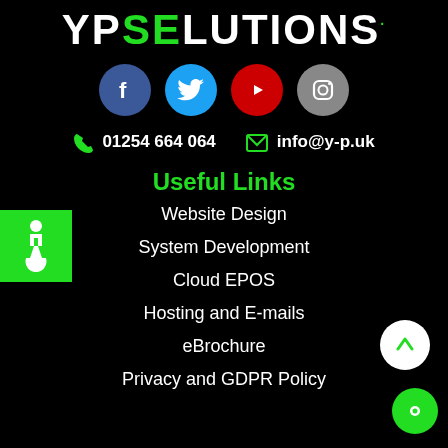[Figure (logo): YPSolutions logo with YP in white and 'se' in green, rest white, on black background]
[Figure (infographic): Social media icons row: Facebook (blue circle), Twitter (blue circle), YouTube (red circle), Instagram (grey circle)]
01254 664 064    info@y-p.uk
[Figure (illustration): Green square with white wheelchair accessibility icon]
Useful Links
Website Design
System Development
Cloud EPOS
Hosting and E-mails
eBrochure
Privacy and GDPR Policy